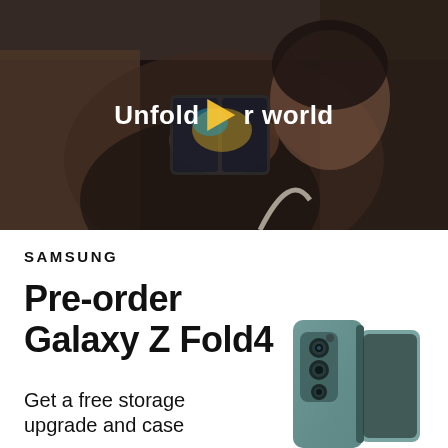[Figure (photo): Woman sitting in a car holding a Samsung Galaxy Z Fold4 phone open toward the camera, dark moody interior lighting. White play button icon overlay with text 'Unfold your world']
SAMSUNG
Pre-order Galaxy Z Fold4
Get a free storage upgrade and case
[Figure (photo): Samsung Galaxy Z Fold4 phone in teal/gray color shown slightly open, viewed from the back/side showing triple camera array]